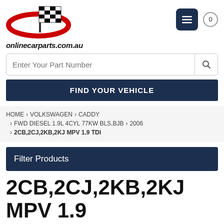[Figure (logo): Checkered racing flag with red oval ellipse logo for onlinecarparts.com.au]
onlinecarparts.com.au
Enter Your Part Number
FIND YOUR VEHICLE
HOME › VOLKSWAGEN › CADDY › FWD DIESEL 1.9L 4CYL 77KW BLS,BJB › 2006 › 2CB,2CJ,2KB,2KJ MPV 1.9 TDI
Filter Products
2CB,2CJ,2KB,2KJ MPV 1.9 TDI